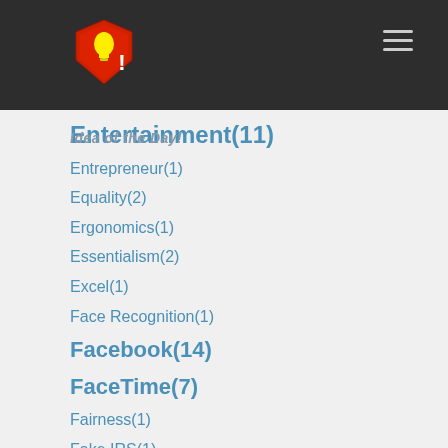Idea of the Day!
Entertainment(11)
Entrepreneur(1)
Equality(2)
Ergonomics(1)
Essentialism(2)
Excel(1)
Face Recognition(1)
Facebook(14)
FaceTime(7)
Fairness(1)
Fake IRS(1)
Fake News(1)
Families(1)
Family(3)
Family Values(1)
Famous Amos(1)
Fans(2)
Fashion(2)
Fast Food(33)